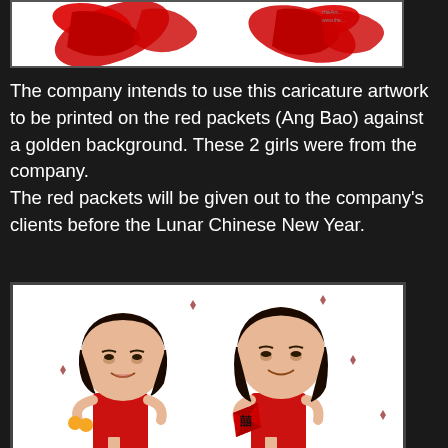[Figure (illustration): Top portion of caricature artwork showing red decorative elements on white background, partially cropped]
The company intends to use this caricature artwork to be printed on the red packets (Ang Bao) against a golden background. These 2 girls were from the company. The red packets will be given out to the company's clients before the Lunar Chinese New Year.
[Figure (illustration): Caricature artwork of two Asian women wearing red cheongsam (qipao) dresses. The woman on the left holds oranges, and the woman on the right holds a red envelope (Ang Bao) with Chinese characters. Both have exaggerated large heads in caricature style with black hair. Small red decorative elements scattered around.]